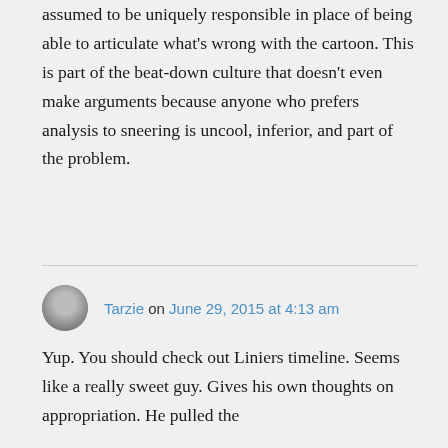assumed to be uniquely responsible in place of being able to articulate what's wrong with the cartoon. This is part of the beat-down culture that doesn't even make arguments because anyone who prefers analysis to sneering is uncool, inferior, and part of the problem.
Tarzie on June 29, 2015 at 4:13 am
Yup. You should check out Liniers timeline. Seems like a really sweet guy. Gives his own thoughts on appropriation. He pulled the